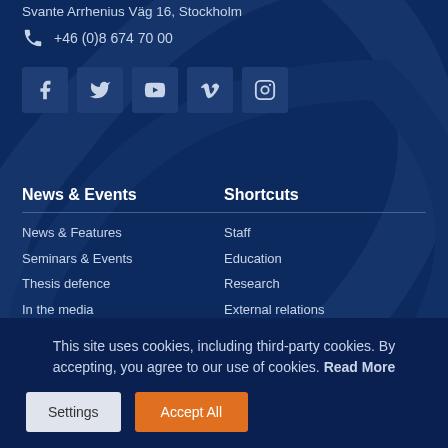Svante Arrhenius Väg 16, Stockholm
+46 (0)8 674 70 00
[Figure (infographic): Row of 5 social media icon buttons: Facebook, Twitter, YouTube, Vimeo, Instagram]
News & Events
Shortcuts
News & Features
Staff
Seminars & Events
Education
Thesis defence
Research
In the media
External relations
Job opportunities
Privacy Policy
This site uses cookies, including third-party cookies. By accepting, you agree to our use of cookies. Read More
Settings | Accept All